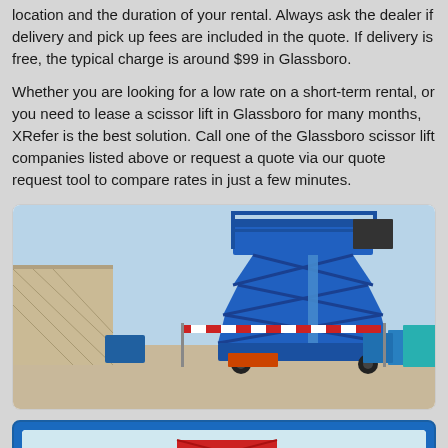location and the duration of your rental. Always ask the dealer if delivery and pick up fees are included in the quote. If delivery is free, the typical charge is around $99 in Glassboro.
Whether you are looking for a low rate on a short-term rental, or you need to lease a scissor lift in Glassboro for many months, XRefer is the best solution. Call one of the Glassboro scissor lift companies listed above or request a quote via our quote request tool to compare rates in just a few minutes.
[Figure (photo): Photo of a blue scissor lift elevated at a construction/industrial site, with other heavy equipment vehicles visible in the background.]
[Figure (photo): Partially visible photo of a red scissor lift, shown inside a blue-bordered card frame, partially cut off at the bottom of the page.]